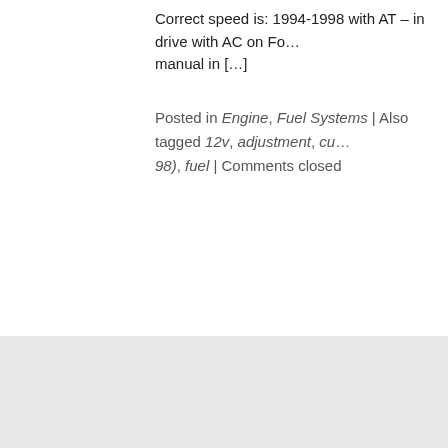Correct speed is: 1994-1998 with AT – in drive with AC on Fo… manual in […]
Posted in Engine, Fuel Systems | Also tagged 12v, adjustment, cu… 98), fuel | Comments closed
©2005-2022 DieselDatabase.com
Website development by Cougar Gulch Group LLC
Built on Thematic